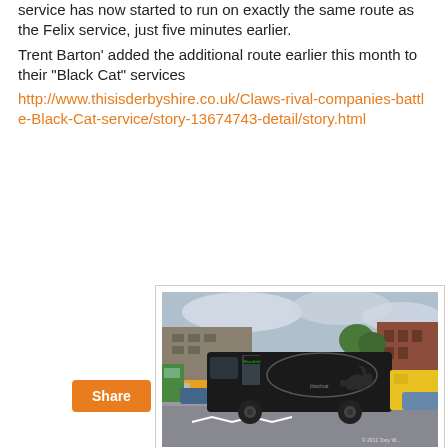service has now started to run on exactly the same route as the Felix service, just five minutes earlier.
Trent Barton' added the additional route earlier this month to their "Black Cat" services
http://www.thisisderbyshire.co.uk/Claws-rival-companies-battle-Black-Cat-service/story-13674743-detail/story.html
[Figure (photo): A black Trent Barton Black Cat bus driving on a road in a town centre, with buildings and other vehicles visible in the background. The bus displays 'Mansfield' as the destination.]
trentbarton Black Cat
Share